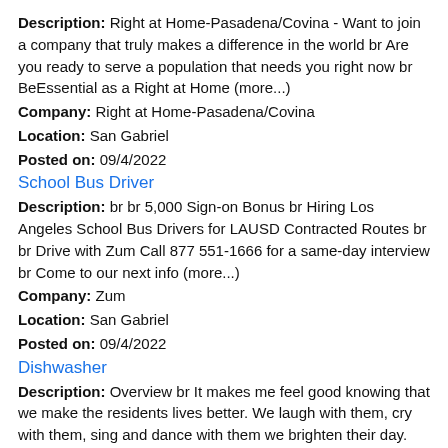Description: Right at Home-Pasadena/Covina - Want to join a company that truly makes a difference in the world br Are you ready to serve a population that needs you right now br BeEssential as a Right at Home (more...)
Company: Right at Home-Pasadena/Covina
Location: San Gabriel
Posted on: 09/4/2022
School Bus Driver
Description: br br 5,000 Sign-on Bonus br Hiring Los Angeles School Bus Drivers for LAUSD Contracted Routes br br Drive with Zum Call 877 551-1666 for a same-day interview br Come to our next info (more...)
Company: Zum
Location: San Gabriel
Posted on: 09/4/2022
Dishwasher
Description: Overview br It makes me feel good knowing that we make the residents lives better. We laugh with them, cry with them, sing and dance with them we brighten their day. Working here is an unbelievable (more...)
Company: Sunrise Senior Living
Location: San Gabriel